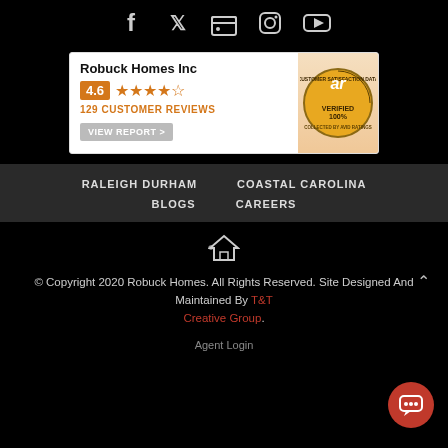[Figure (infographic): Social media icons: Facebook, Twitter, LinkedIn, Instagram, YouTube on black background]
[Figure (infographic): Robuck Homes Inc review widget: 4.6 stars, 129 customer reviews, View Report button, Avid Ratings Customer Satisfaction Data Verified 100% badge]
RALEIGH DURHAM
COASTAL CAROLINA
BLOGS
CAREERS
[Figure (illustration): House/equal housing opportunity icon]
© Copyright 2020 Robuck Homes. All Rights Reserved. Site Designed And Maintained By T&T Creative Group.
Agent Login